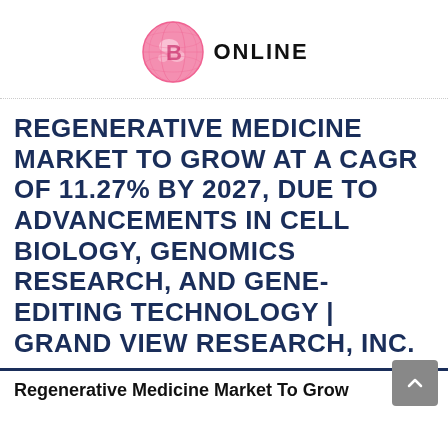[Figure (logo): Business Online logo — pink globe icon with 'ONLINE' text in bold black capitals]
REGENERATIVE MEDICINE MARKET TO GROW AT A CAGR OF 11.27% BY 2027, DUE TO ADVANCEMENTS IN CELL BIOLOGY, GENOMICS RESEARCH, AND GENE-EDITING TECHNOLOGY | GRAND VIEW RESEARCH, INC.
Regenerative Medicine Market To Grow